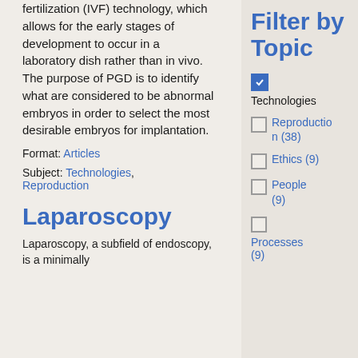fertilization (IVF) technology, which allows for the early stages of development to occur in a laboratory dish rather than in vivo. The purpose of PGD is to identify what are considered to be abnormal embryos in order to select the most desirable embryos for implantation.
Format: Articles
Subject: Technologies, Reproduction
Laparoscopy
Laparoscopy, a subfield of endoscopy, is a minimally invasive surgical procedure
Filter by Topic
Technologies (checked)
Reproduction (38)
Ethics (9)
People (9)
Processes (9)